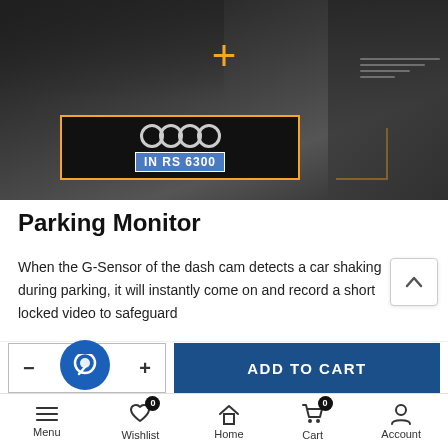[Figure (photo): Front view of an Audi car (license plate IN-RS 6300) with a yellow rectangular overlay highlighting the front grille and camera area. A plus icon is visible in the upper center. Person visible in background at top left.]
Parking Monitor
When the G-Sensor of the dash cam detects a car shaking during parking, it will instantly come on and record a short locked video to safeguard
[Figure (screenshot): Scroll up chevron button on the right side of the page]
- 1 +   ADD TO CART
Menu  Wishlist 0  Home  Cart 0  Account